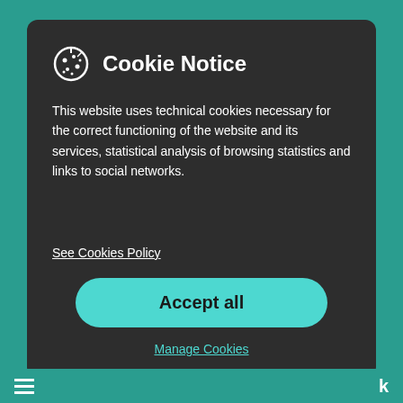Cookie Notice
This website uses technical cookies necessary for the correct functioning of the website and its services, statistical analysis of browsing statistics and links to social networks.
See Cookies Policy
Accept all
Manage Cookies